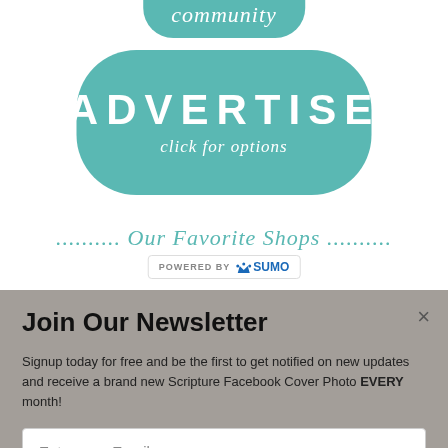[Figure (logo): Teal rounded pill/badge with italic text 'community' at top of page]
[Figure (logo): Teal rounded rectangle button with large text 'ADVERTISE' and italic subtitle 'click for options']
.......... Our Favorite Shops ..........
[Figure (logo): Powered by SUMO badge with crown icon]
Join Our Newsletter
Signup today for free and be the first to get notified on new updates and receive a brand new Scripture Facebook Cover Photo EVERY month!
Enter your Email
CLICK HERE TO GET STARTED!